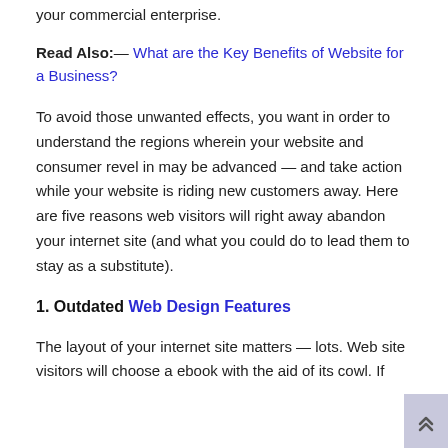your commercial enterprise.
Read Also:— What are the Key Benefits of Website for a Business?
To avoid those unwanted effects, you want in order to understand the regions wherein your website and consumer revel in may be advanced — and take action while your website is riding new customers away. Here are five reasons web visitors will right away abandon your internet site (and what you could do to lead them to stay as a substitute).
1. Outdated Web Design Features
The layout of your internet site matters — lots. Web site visitors will choose a ebook with the aid of its cowl. If